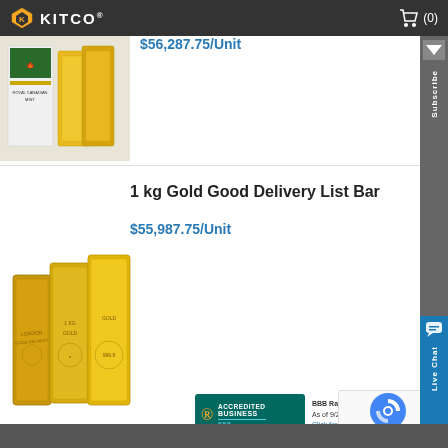KITCO (0)
$56,287.75/Unit
[Figure (photo): Gold bars or coins product image - partially visible at top of page]
1 kg Gold Good Delivery List Bar
$55,987.75/Unit
[Figure (photo): Three stacked gold bars (1 kg Good Delivery) shown side by side]
[Figure (logo): BBB Accredited Business badge with rating info and reCAPTCHA]